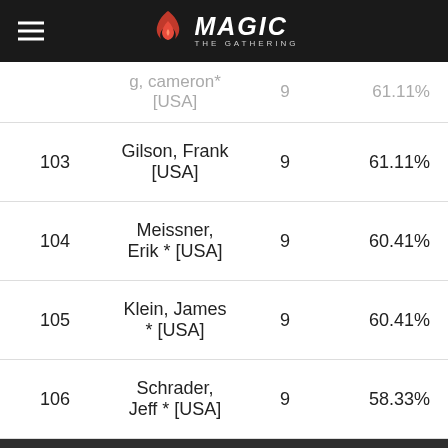Magic: The Gathering
|  | Player | Points | % |
| --- | --- | --- | --- |
|  | g, cameron * [USA] | 9 | 61.11% |
| 103 | Gilson, Frank [USA] | 9 | 61.11% |
| 104 | Meissner, Erik * [USA] | 9 | 60.41% |
| 105 | Klein, James * [USA] | 9 | 60.41% |
| 106 | Schrader, Jeff * [USA] | 9 | 58.33% |
We use necessary cookies to allow our site to function correctly and collect anonymous session data. Necessary cookies can be opted out through your browser settings. We also use optional cookies to personalize content and ads, provide social medial features and analyze web traffic. By clicking “OK, I agree,” you consent to optional cookies. (Learn more about cookies.)